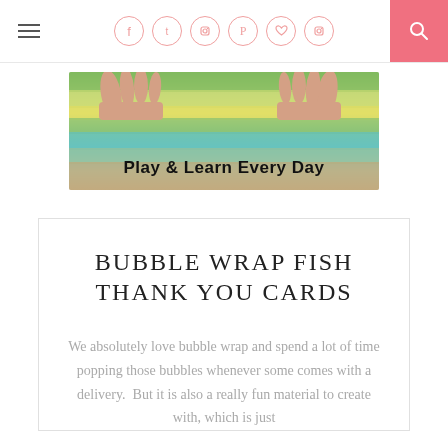Navigation header with hamburger menu, social icons (Facebook, Twitter, Instagram, Pinterest, heart, Instagram), and search button
[Figure (illustration): Banner image showing children's hands playing in colorful sand/sensory material with rainbow layers. Text overlay reads 'Play & Learn Every Day']
BUBBLE WRAP FISH THANK YOU CARDS
We absolutely love bubble wrap and spend a lot of time popping those bubbles whenever some comes with a delivery.  But it is also a really fun material to create with, which is just